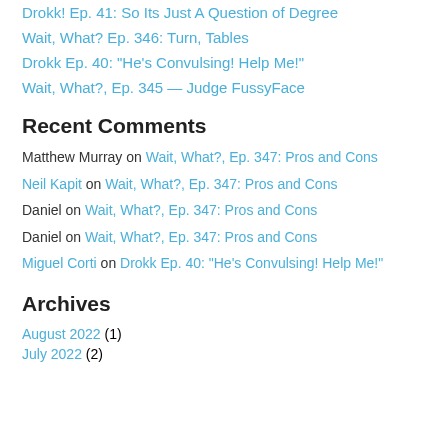Drokk! Ep. 41: So Its Just A Question of Degree
Wait, What? Ep. 346: Turn, Tables
Drokk Ep. 40: "He's Convulsing! Help Me!"
Wait, What?, Ep. 345 — Judge FussyFace
Recent Comments
Matthew Murray on Wait, What?, Ep. 347: Pros and Cons
Neil Kapit on Wait, What?, Ep. 347: Pros and Cons
Daniel on Wait, What?, Ep. 347: Pros and Cons
Daniel on Wait, What?, Ep. 347: Pros and Cons
Miguel Corti on Drokk Ep. 40: "He's Convulsing! Help Me!"
Archives
August 2022 (1)
July 2022 (2)